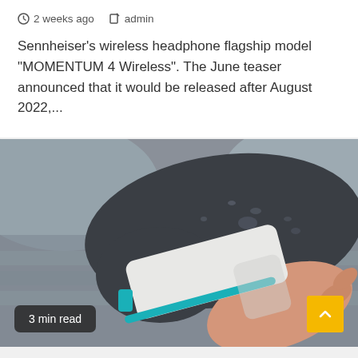2 weeks ago  admin
Sennheiser's wireless headphone flagship model "MOMENTUM 4 Wireless". The June teaser announced that it would be released after August 2022,...
[Figure (photo): A hand holding a white cylindrical object with a teal stripe against a dark bicycle saddle with water droplets. A '3 min read' badge appears in the bottom left and a yellow scroll-to-top button in the bottom right.]